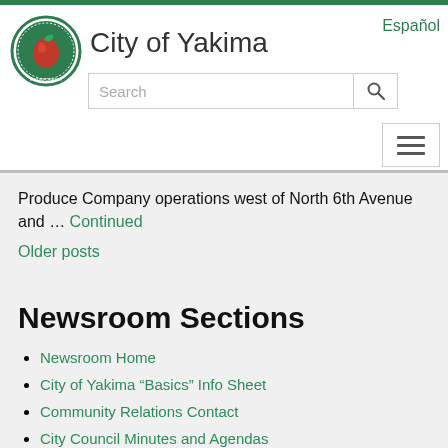City of Yakima
Produce Company operations west of North 6th Avenue and … Continued
Older posts
Newsroom Sections
Newsroom Home
City of Yakima “Basics” Info Sheet
Community Relations Contact
City Council Minutes and Agendas
Archives